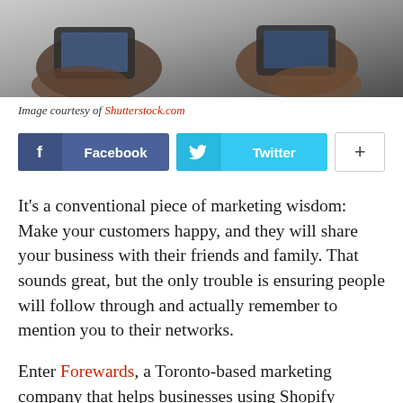[Figure (photo): Close-up photograph of two people's hands holding smartphones, shown from above against a blurred background.]
Image courtesy of Shutterstock.com
[Figure (infographic): Social sharing buttons: Facebook button (blue), Twitter button (cyan), and a plus (+) button (white with border).]
It’s a conventional piece of marketing wisdom: Make your customers happy, and they will share your business with their friends and family. That sounds great, but the only trouble is ensuring people will follow through and actually remember to mention you to their networks.
Enter Forewards, a Toronto-based marketing company that helps businesses using Shopify storefronts with emailing their customers. Essentially,